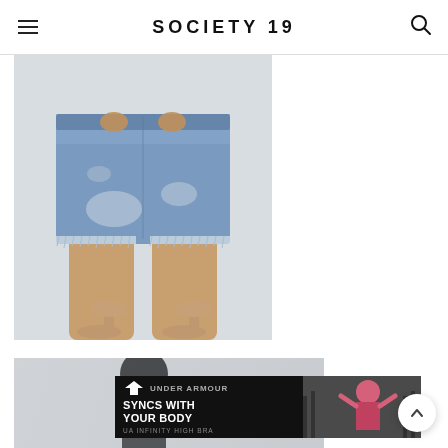SOCIETY 19
[Figure (photo): Woman wearing distressed light-wash denim bermuda shorts with frayed hem and ripped details, paired with nude pointed-toe heels, cropped at waist showing hands]
[Figure (photo): Partial view of a fashion editorial photo showing a person, partially obscured by advertisement banner]
[Figure (infographic): Under Armour advertisement banner: black background with UA logo and bold white text reading SYNCS WITH YOUR BODY, subtext UA INFINITY HIGH BRA, right side shows woman in pink athletic wear in gym setting]